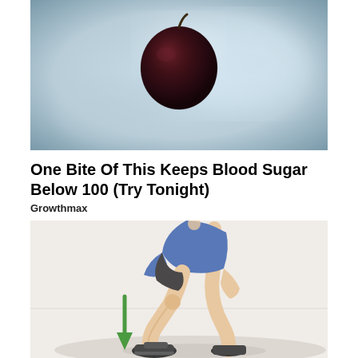[Figure (photo): Close-up photo of a dark red/maroon fruit (appears to be a grape or similar small dark fruit) floating against a blurred grey-blue background]
One Bite Of This Keeps Blood Sugar Below 100 (Try Tonight)
Growthmax
[Figure (illustration): Illustration of a person in a squat/lunge position wearing blue shirt and dark shorts and sneakers, with a green downward arrow indicating movement direction]